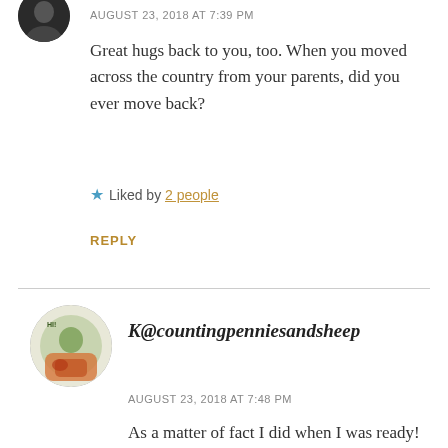AUGUST 23, 2018 AT 7:39 PM
Great hugs back to you, too. When you moved across the country from your parents, did you ever move back?
Liked by 2 people
REPLY
K@countingpenniesandsheep
AUGUST 23, 2018 AT 7:48 PM
As a matter of fact I did when I was ready!